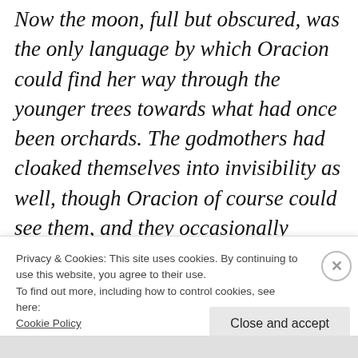Now the moon, full but obscured, was the only language by which Oracion could find her way through the younger trees towards what had once been orchards. The godmothers had cloaked themselves into invisibility as well, though Oracion of course could see them, and they occasionally appeared to her as nuthatches or robins. This was intended to amuse her she was sure, but as birds they appeared to have no place to
Privacy & Cookies: This site uses cookies. By continuing to use this website, you agree to their use.
To find out more, including how to control cookies, see here: Cookie Policy
Close and accept